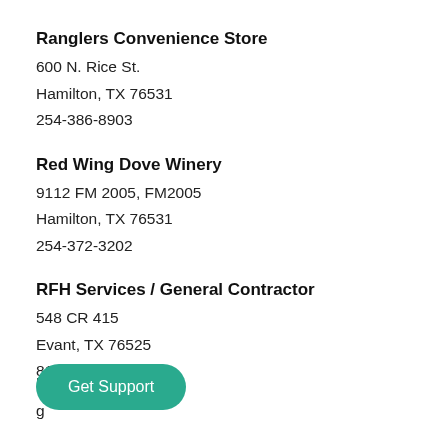Ranglers Convenience Store
600 N. Rice St.
Hamilton, TX 76531
254-386-8903
Red Wing Dove Winery
9112 FM 2005, FM2005
Hamilton, TX 76531
254-372-3202
RFH Services / General Contractor
548 CR 415
Evant, TX 76525
817-296-8131
R[...] Memorial
g...